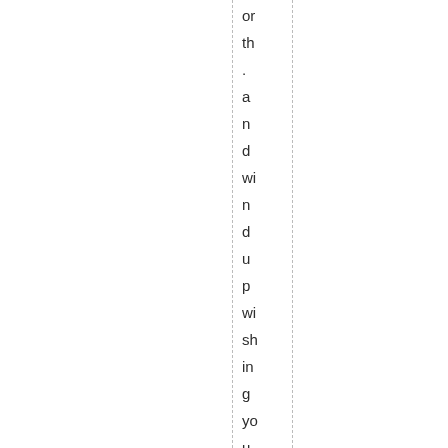or
th
.
a
n
d
wi
n
d
u
p
wi
sh
in
g
yo
u
h
a
d
n
ot
p
ur
ch
as
e
d
it!